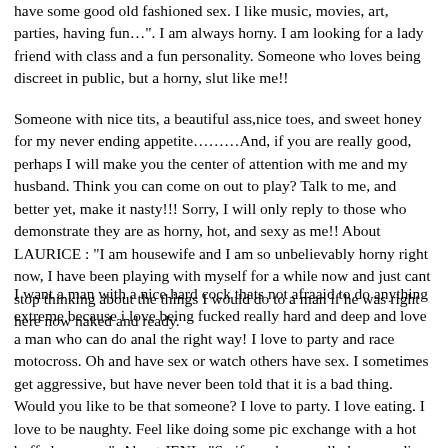have some good old fashioned sex. I like music, movies, art, parties, having fun…". I am always horny. I am looking for a lady friend with class and a fun personality. Someone who loves being discreet in public, but a horny, slut like me!!
Someone with nice tits, a beautiful ass,nice toes, and sweet honey for my never ending appetite………And, if you are really good, perhaps I will make you the center of attention with me and my husband. Think you can come on out to play? Talk to me, and better yet, make it nasty!!! Sorry, I will only reply to those who demonstrate they are as horny, hot, and sexy as me!! About LAURICE : "I am housewife and I am so unbelievably horny right now, I have been playing with myself for a while now and just cant stop thinking about the things I would do to a man if he was right here now naked and ready.
I want a man with a nice hard cock thats not afraaid to do anything extreme because i love being fucked really hard and deep and love a man who can do anal the right way! I love to party and race motocross. Oh and have sex or watch others have sex. I sometimes get aggressive, but have never been told that it is a bad thing. Would you like to be that someone? I love to party. I love eating. I love to be naughty. Feel like doing some pic exchange with a hot buffed guy xxx". About JENI : "So if you have really been reading what I have to say and think that you are the right person for me